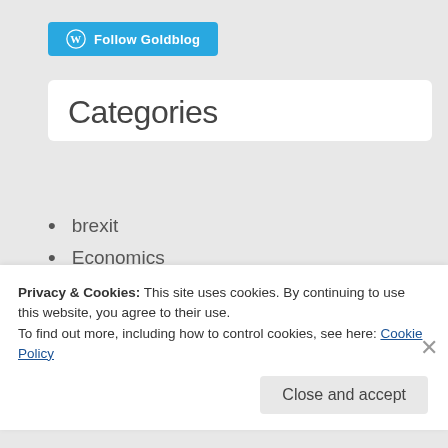[Figure (logo): WordPress Follow Goldblog blue button with WordPress logo icon]
Categories
brexit
Economics
Economics A-level technique
Education
Election 2019
Politics
Privacy & Cookies: This site uses cookies. By continuing to use this website, you agree to their use.
To find out more, including how to control cookies, see here: Cookie Policy
Close and accept